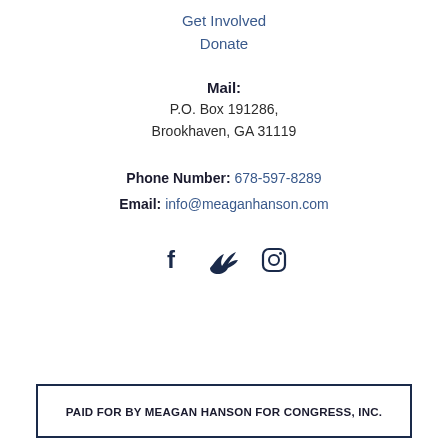Get Involved
Donate
Mail:
P.O. Box 191286,
Brookhaven, GA 31119
Phone Number: 678-597-8289
Email: info@meaganhanson.com
[Figure (infographic): Social media icons: Facebook, Twitter, Instagram]
PAID FOR BY MEAGAN HANSON FOR CONGRESS, INC.